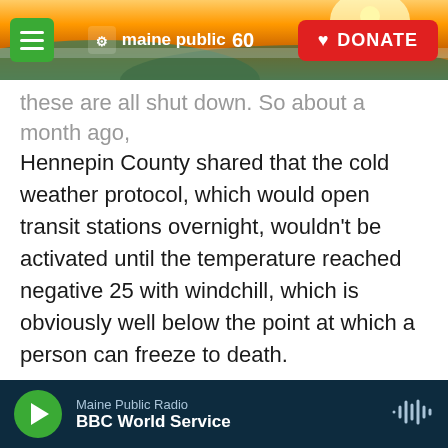[Figure (screenshot): Maine Public 60th anniversary website header with landscape sunrise photo, hamburger menu button, Maine Public logo, and red DONATE button]
these are all shut down. So about a month ago, Hennepin County shared that the cold weather protocol, which would open transit stations overnight, wouldn't be activated until the temperature reached negative 25 with windchill, which is obviously well below the point at which a person can freeze to death.
CHANG: So at this point, are you saying that there are no fail-safes for temperatures this dangerously low - no fail-safes that are available for people who are without homes right now?
MURAD: Yeah, I mean, there are shelters that have
Maine Public Radio
BBC World Service